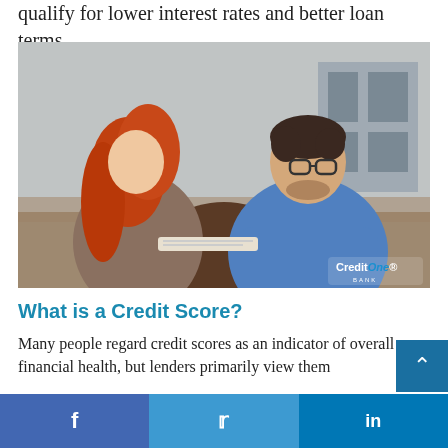qualify for lower interest rates and better loan terms.
[Figure (photo): Two people (a woman with long red hair and a man with glasses wearing a blue shirt) at a table in a meeting, viewed from behind a third person. CreditOne Bank logo visible in corner.]
What is a Credit Score?
Many people regard credit scores as an indicator of overall financial health, but lenders primarily view them
f  (Facebook)    (Twitter)    in (LinkedIn)